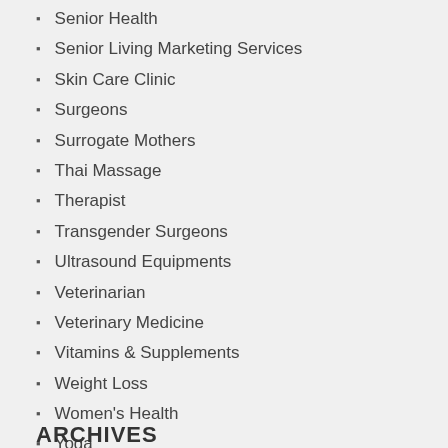Senior Health
Senior Living Marketing Services
Skin Care Clinic
Surgeons
Surrogate Mothers
Thai Massage
Therapist
Transgender Surgeons
Ultrasound Equipments
Veterinarian
Veterinary Medicine
Vitamins & Supplements
Weight Loss
Women's Health
Yoga
ARCHIVES